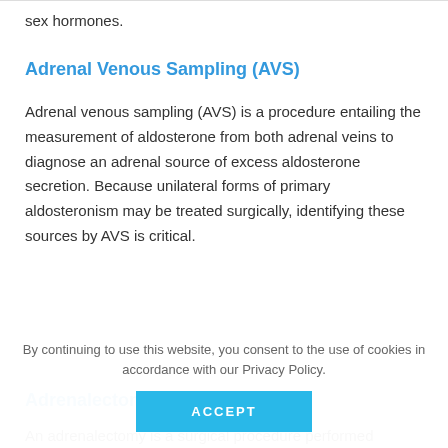sex hormones.
Adrenal Venous Sampling (AVS)
Adrenal venous sampling (AVS) is a procedure entailing the measurement of aldosterone from both adrenal veins to diagnose an adrenal source of excess aldosterone secretion. Because unilateral forms of primary aldosteronism may be treated surgically, identifying these sources by AVS is critical.
Adrenalectomy
An adrenalectomy is a surgical procedure performed
By continuing to use this website, you consent to the use of cookies in accordance with our Privacy Policy.